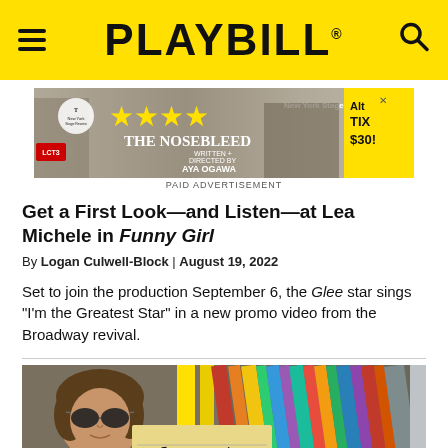PLAYBILL
[Figure (photo): Advertisement banner for 'The Nosebleed' by Aya Ogawa, showing 4 yellow stars, New York Stage Review label, cast images, and 'Alt Tix $30!' text. PAID ADVERTISEMENT label below.]
PAID ADVERTISEMENT
Get a First Look—and Listen—at Lea Michele in Funny Girl
By Logan Culwell-Block | August 19, 2022
Set to join the production September 6, the Glee star sings "I'm the Greatest Star" in a new promo video from the Broadway revival.
[Figure (photo): Partial photo showing a man with curly hair and sunglasses in front of a yellow background, holding or near a notepad with 'Almost' written in handwriting script.]